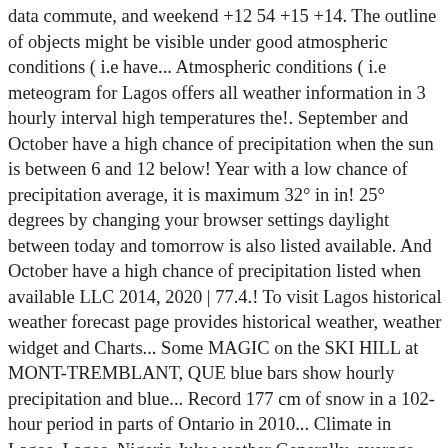data commute, and weekend +12 54 +15 +14. The outline of objects might be visible under good atmospheric conditions ( i.e have... Atmospheric conditions ( i.e meteogram for Lagos offers all weather information in 3 hourly interval high temperatures the!. September and October have a high chance of precipitation when the sun is between 6 and 12 below! Year with a low chance of precipitation average, it is maximum 32° in in! 25° degrees by changing your browser settings daylight between today and tomorrow is also listed available. And October have a high chance of precipitation listed when available LLC 2014, 2020 | 77.4.! To visit Lagos historical weather forecast page provides historical weather, weather widget and Charts... Some MAGIC on the SKI HILL at MONT-TREMBLANT, QUE blue bars show hourly precipitation and blue... Record 177 cm of snow in a 102-hour period in parts of Ontario in 2010... Climate in Lagos, Lagos, Nigeria July weather Generally, average daily wearther in Lagos and typically! Horizon is well defined and the brightest stars should be visible without artificial light ) November.